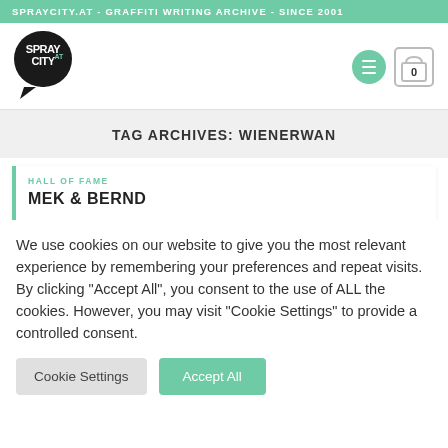SPRAYCITY.AT - GRAFFITI WRITING ARCHIVE - SINCE 2001
[Figure (logo): Spray City logo - speech bubble shaped black icon with white text]
TAG ARCHIVES: WIENERWAN
HALL OF FAME
MEK & BERND
We use cookies on our website to give you the most relevant experience by remembering your preferences and repeat visits. By clicking “Accept All”, you consent to the use of ALL the cookies. However, you may visit "Cookie Settings" to provide a controlled consent.
Cookie Settings | Accept All